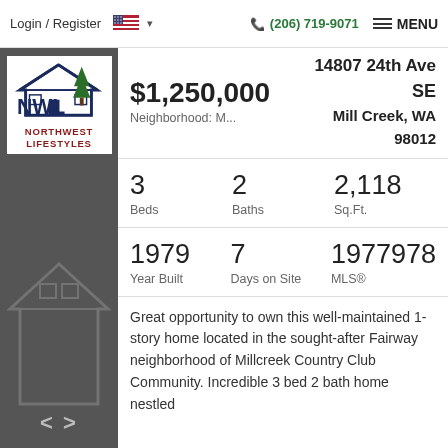Login / Register  🇺🇸 ▾   ☎ (206) 719-9071  ≡ MENU
[Figure (logo): Northwest Lifestyles real estate logo with house/mountain/tree graphic and red text 'NORTHWEST LIFESTYLES']
14807 24th Ave SE
Mill Creek, WA 98012
$1,250,000
Neighborhood: M...
3 Beds   2 Baths   2,118 Sq.Ft.
1979 Year Built   7 Days on Site   1977978 MLS®
Great opportunity to own this well-maintained 1-story home located in the sought-after Fairway neighborhood of Millcreek Country Club Community. Incredible 3 bed 2 bath home nestled